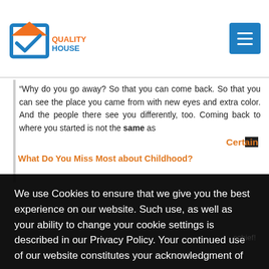Quality House logo and navigation
“Why do you go away? So that you can come back. So that you can see the place you came from with new eyes and extra color. And the people there see you differently, too. Coming back to where you started is not the same as
Certain
What Do You Miss Most about Childhood?
We use Cookies to ensure that we give you the best experience on our website. Such use, as well as your ability to change your cookie settings is described in our Privacy Policy. Your continued use of our website constitutes your acknowledgment of our
Privacy Policy
I Agree
schief!